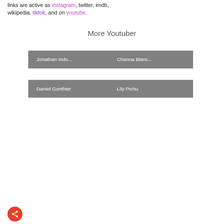links are active as instagram, twitter, imdb, wikipedia, tiktok, and on youtube.
More Youtuber
Jonathan Indo... | Channa Blanc...
Daniel Gonthier | Lily Pichu